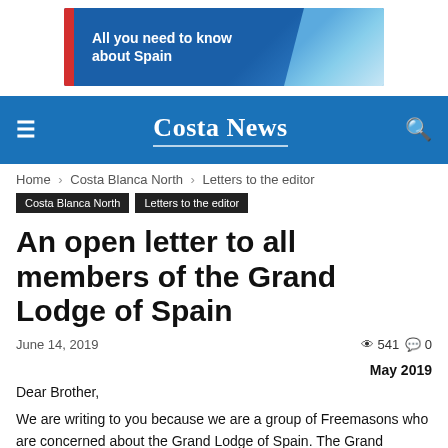[Figure (infographic): Advertisement banner: blue background with red stripe on left, text 'All you need to know about Spain', coastal beach image on right]
Costa News
Home › Costa Blanca North › Letters to the editor
Costa Blanca North
Letters to the editor
An open letter to all members of the Grand Lodge of Spain
June 14, 2019   👁 541   💬 0
May 2019
Dear Brother,
We are writing to you because we are a group of Freemasons who are concerned about the Grand Lodge of Spain. The Grand